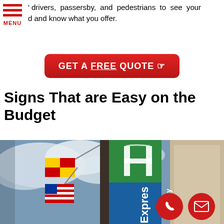drivers, passersby, and pedestrians to see your brand and know what you offer.
GET A FREE QUOTE
Signs That are Easy on the Budget
[Figure (photo): Photo of a building exterior with a Holiday Inn Express banner sign (green and blue) mounted on the facade, with a Maryland state flag and an American flag visible on a flagpole in the foreground against a cloudy sky.]